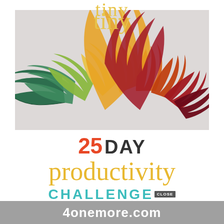tiny (script lettering at top)
[Figure (photo): Fan arrangement of autumn leaves in spectrum of colors from green to yellow-orange to orange to red to dark red/maroon, arranged on a light grey background]
25 DAY productivity CHALLENGE
4onemore.com